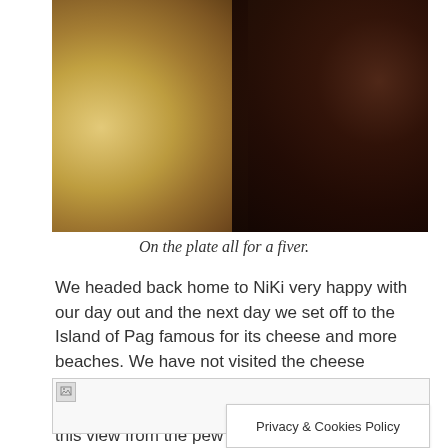[Figure (photo): Close-up photo of roasted potatoes on the left and charred/grilled meat on the right on a plate]
On the plate all for a fiver.
We headed back home to NiKi very happy with our day out and the next day we set off to the Island of Pag famous for its cheese and more beaches. We have not visited the cheese factory yet but the beach at our €15 a night campsite is stunning would you not agree.  With this view from the pew we are not going anywhere too fast.
[Figure (photo): Broken/unloaded image placeholder]
Privacy & Cookies Policy